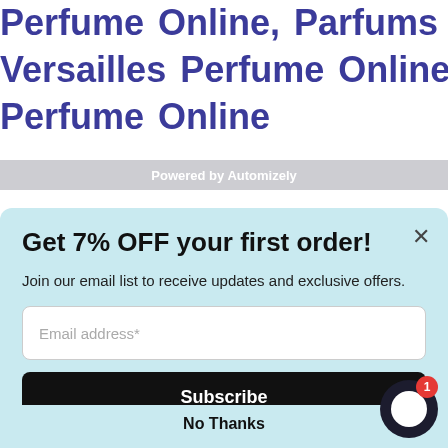Perfume Online, Parfums Du Chateau De Versailles Perfume Online, Parfums Esmeralda Perfume Online Perfume Online,
Powered by Automizely
Get 7% OFF your first order!
Join our email list to receive updates and exclusive offers.
Email address*
Subscribe
No Thanks